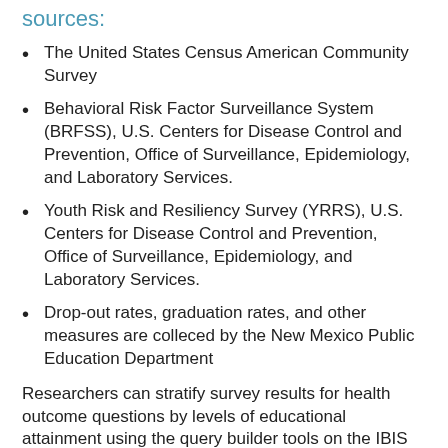sources:
The United States Census American Community Survey
Behavioral Risk Factor Surveillance System (BRFSS), U.S. Centers for Disease Control and Prevention, Office of Surveillance, Epidemiology, and Laboratory Services.
Youth Risk and Resiliency Survey (YRRS), U.S. Centers for Disease Control and Prevention, Office of Surveillance, Epidemiology, and Laboratory Services.
Drop-out rates, graduation rates, and other measures are colleced by the New Mexico Public Education Department
Researchers can stratify survey results for health outcome questions by levels of educational attainment using the query builder tools on the IBIS website.